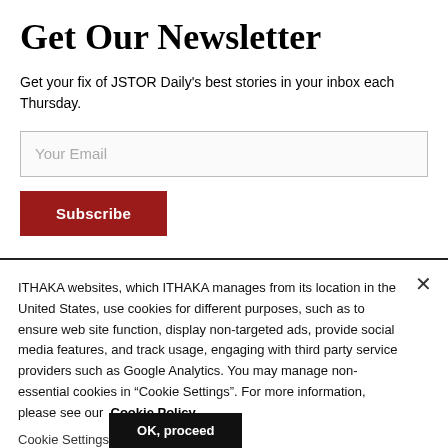Get Our Newsletter
Get your fix of JSTOR Daily's best stories in your inbox each Thursday.
ITHAKA websites, which ITHAKA manages from its location in the United States, use cookies for different purposes, such as to ensure web site function, display non-targeted ads, provide social media features, and track usage, engaging with third party service providers such as Google Analytics. You may manage non-essential cookies in “Cookie Settings”. For more information, please see our Cookie Policy.
Cookie Settings
OK, proceed